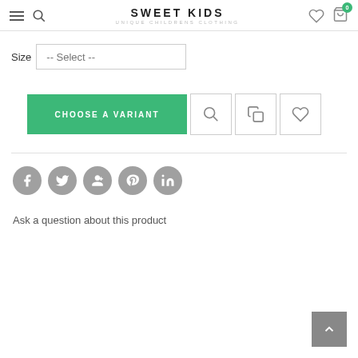SWEET KIDS — UNIQUE CHILDRENS CLOTHING
Size -- Select --
[Figure (screenshot): Green 'CHOOSE A VARIANT' button with search, copy, and heart icon buttons]
[Figure (infographic): Social share icons: Facebook, Twitter, Google+, Pinterest, LinkedIn]
Ask a question about this product